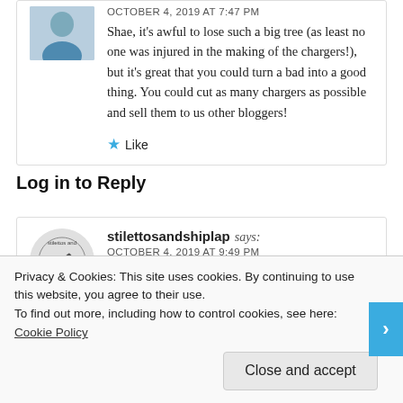OCTOBER 4, 2019 AT 7:47 PM
Shae, it's awful to lose such a big tree (as least no one was injured in the making of the chargers!), but it's great that you could turn a bad into a good thing. You could cut as many chargers as possible and sell them to us other bloggers!
Like
Log in to Reply
stilettosandshiplap says:
OCTOBER 4, 2019 AT 9:49 PM
Love the chargers! What a great lot of different
Privacy & Cookies: This site uses cookies. By continuing to use this website, you agree to their use.
To find out more, including how to control cookies, see here: Cookie Policy
Close and accept